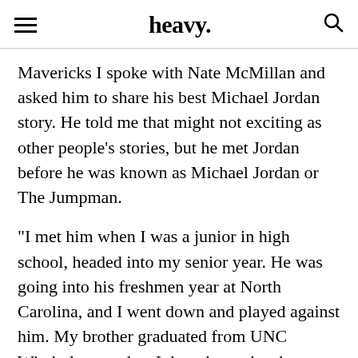heavy.
Mavericks I spoke with Nate McMillan and asked him to share his best Michael Jordan story. He told me that might not exciting as other people's stories, but he met Jordan before he was known as Michael Jordan or The Jumpman.
“I met him when I was a junior in high school, headed into my senior year. He was going into his freshmen year at North Carolina, and I went down and played against him. My brother graduated from UNC Wimbolton, and so I thought my brother was bringing me down there to play against him because